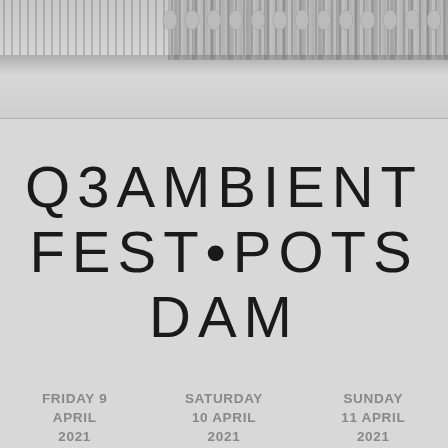[Figure (photo): Top portion of page showing a spiral-bound notebook or calendar with metal coil binding visible at top right, light grey paper, with a downward chevron arrow in the center]
Q3AMBIENT FEST•POTSDAM
FRIDAY 9 APRIL 2021   SATURDAY 10 APRIL 2021   SUNDAY 11 APRIL 2021